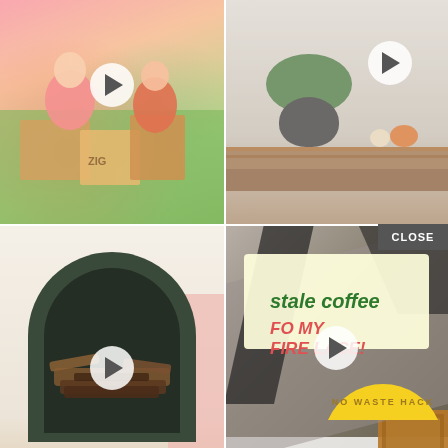[Figure (photo): Top-left: Two children playing with colorful cardboard boxes on grass, video play button overlay]
[Figure (photo): Top-right: Wooden shelf with dark ceramic pot holding green plant and small orange and cream pumpkins, video play button overlay]
[Figure (photo): Bottom-left: White fireplace with dark arched opening containing logs, decorative patterned tile trim, video play button overlay]
[Figure (infographic): Bottom-right: 'stale coffee FOR MY FIREPLACE!' text overlay on diagonal surface background with yellow 'NO WASTE HACK' badge and wood frame, play button overlay]
CLOSE
[Figure (photo): Advertisement banner: M·A·C lipsticks in purple, pink, magenta, and red with 'M A C' logo and 'SHOP NOW' button]